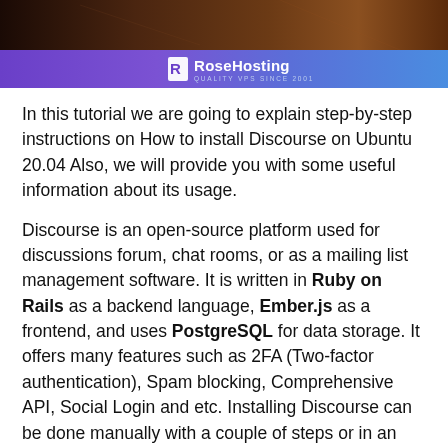[Figure (logo): RoseHosting banner with purple/blue gradient bar and white RoseHosting logo with tagline 'QUALITY VPS SINCE 2001']
In this tutorial we are going to explain step-by-step instructions on How to install Discourse on Ubuntu 20.04 Also, we will provide you with some useful information about its usage.
Discourse is an open-source platform used for discussions forum, chat rooms, or as a mailing list management software. It is written in Ruby on Rails as a backend language, Ember.js as a frontend, and uses PostgreSQL for data storage. It offers many features such as 2FA (Two-factor authentication), Spam blocking, Comprehensive API, Social Login and etc. Installing Discourse can be done manually with a couple of steps or in an isolated environment